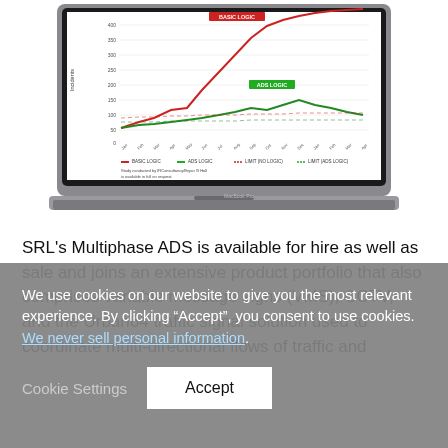[Figure (screenshot): A MacBook Pro laptop displaying a line chart comparing 'Basic Logic' (red line, rising steeply) vs 'ADS Logic' (green line, moderate rise) with legend and note: 'Study conducted by IRConsultancy/Bryan G Hall is available in full on request.']
SRL's Multiphase ADS is available for hire as well as sale and joins an extensive product portfolio that also comprises variable message signs (VMS), CCTV, and the Urban64 traffic signal solution used to coordinate multi-directional flows of traffic and
We use cookies on our website to give you the most relevant experience. By clicking “Accept”, you consent to use cookies. We never sell personal information.